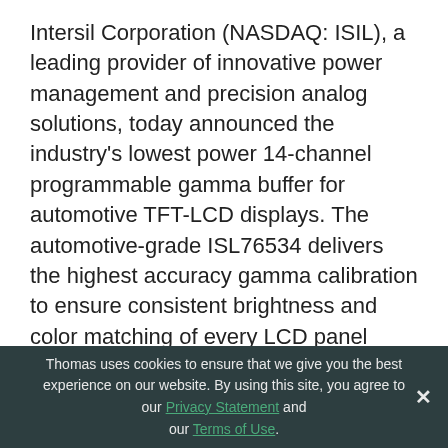Intersil Corporation (NASDAQ: ISIL), a leading provider of innovative power management and precision analog solutions, today announced the industry's lowest power 14-channel programmable gamma buffer for automotive TFT-LCD displays. The automotive-grade ISL76534 delivers the highest accuracy gamma calibration to ensure consistent brightness and color matching of every LCD panel inside a vehicle. The ISL76534 is ideal for next generation LCDs designed for infotainment displays, advanced driver assistance system (ADAS) smart mirrors and instrument cluster displays.

The robust ISL76534 provides engineers with one Vcom and 14 gamma channels with 10-bit resolution for fine-
Thomas uses cookies to ensure that we give you the best experience on our website. By using this site, you agree to our Privacy Statement and our Terms of Use.